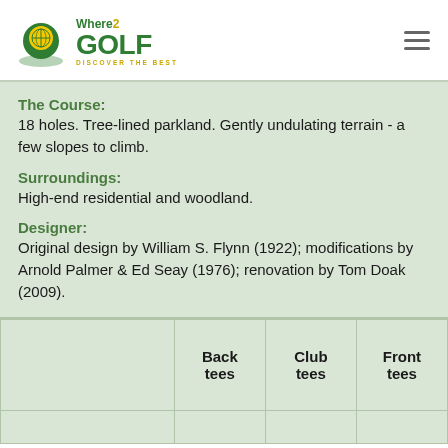[Figure (logo): Where2Golf logo with golf ball pin icon and 'DISCOVER THE BEST' tagline]
The Course:
18 holes. Tree-lined parkland. Gently undulating terrain - a few slopes to climb.
Surroundings:
High-end residential and woodland.
Designer:
Original design by William S. Flynn (1922); modifications by Arnold Palmer & Ed Seay (1976); renovation by Tom Doak (2009).
|  | Back tees | Club tees | Front tees |
| --- | --- | --- | --- |
|  |  |  |  |